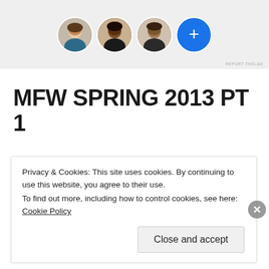[Figure (screenshot): Ad banner with three circular avatar photos and a blue circle with a plus sign, on a light gray background. 'REPORT THIS AD' text in bottom right.]
MFW SPRING 2013 PT 1
Privacy & Cookies: This site uses cookies. By continuing to use this website, you agree to their use.
To find out more, including how to control cookies, see here: Cookie Policy
Close and accept